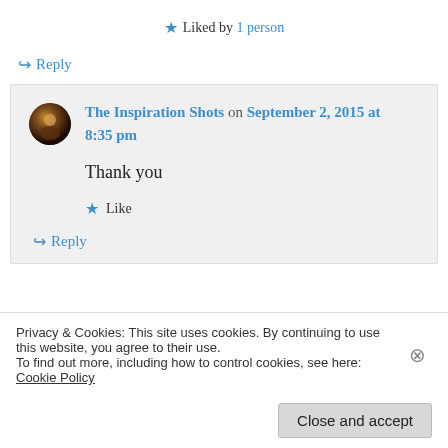★ Liked by 1 person
↪ Reply
The Inspiration Shots on September 2, 2015 at 8:35 pm
Thank you
★ Like
↪ Reply
Privacy & Cookies: This site uses cookies. By continuing to use this website, you agree to their use. To find out more, including how to control cookies, see here: Cookie Policy
Close and accept